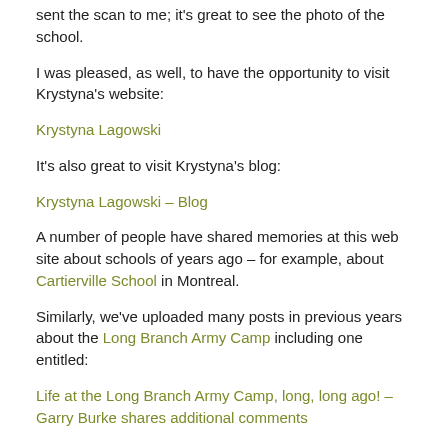sent the scan to me; it's great to see the photo of the school.
I was pleased, as well, to have the opportunity to visit Krystyna's website:
Krystyna Lagowski
It's also great to visit Krystyna's blog:
Krystyna Lagowski – Blog
A number of people have shared memories at this web site about schools of years ago – for example, about Cartierville School in Montreal.
Similarly, we've uploaded many posts in previous years about the Long Branch Army Camp including one entitled:
Life at the Long Branch Army Camp, long, long ago! – Garry Burke shares additional comments